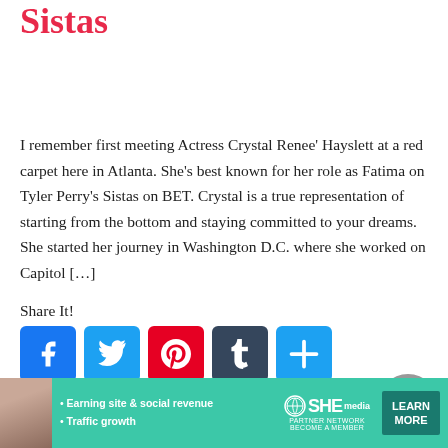Sistas
I remember first meeting Actress Crystal Renee' Hayslett at a red carpet here in Atlanta. She's best known for her role as Fatima on Tyler Perry's Sistas on BET. Crystal is a true representation of starting from the bottom and staying committed to your dreams. She started her journey in Washington D.C. where she worked on Capitol […]
Share It!
[Figure (infographic): Social share buttons: Facebook (blue), Twitter (light blue), Pinterest (red), Tumblr (dark blue/grey), Share/Plus (blue)]
CONTINUE READING
[Figure (infographic): Advertisement banner for SHE Media Partner Network with woman photo, bullet points: Earning site & social revenue, Traffic growth, SHE logo, LEARN MORE button]